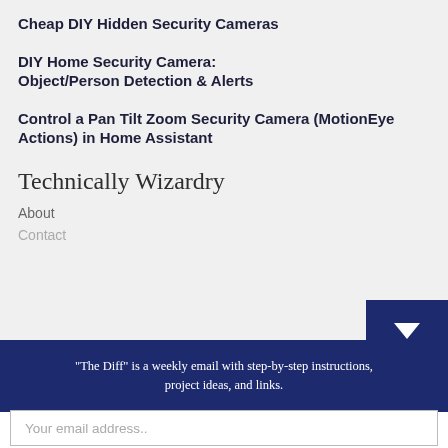Cheap DIY Hidden Security Cameras
DIY Home Security Camera: Object/Person Detection & Alerts
Control a Pan Tilt Zoom Security Camera (MotionEye Actions) in Home Assistant
Technically Wizardry
About
Contact
"The Diff" is a weekly email with step-by-step instructions, project ideas, and links.